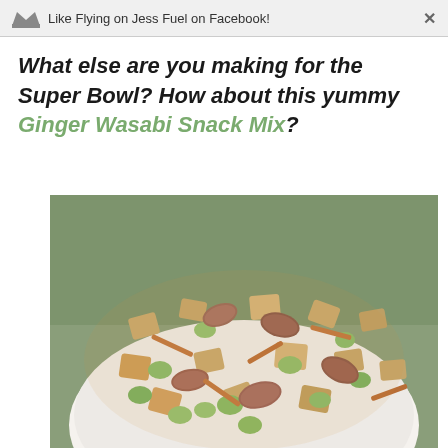Like Flying on Jess Fuel on Facebook!
What else are you making for the Super Bowl? How about this yummy Ginger Wasabi Snack Mix?
[Figure (photo): A white bowl filled with Ginger Wasabi Snack Mix including Chex cereal pieces, wasabi peas, almonds, and pretzel sticks, photographed from above on a green background.]